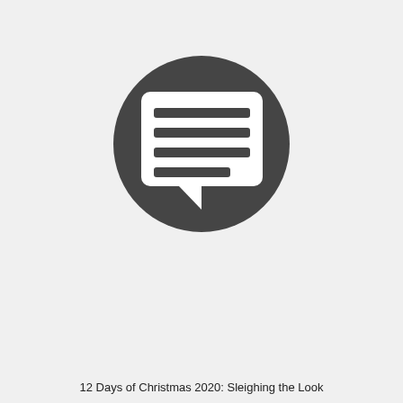[Figure (illustration): A dark gray circle containing a white speech bubble icon with horizontal lines representing text inside it. The speech bubble has a tail pointing downward.]
12 Days of Christmas 2020: Sleighing the Look